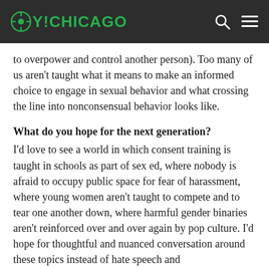OY!CHICAGO
to overpower and control another person). Too many of us aren't taught what it means to make an informed choice to engage in sexual behavior and what crossing the line into nonconsensual behavior looks like.
What do you hope for the next generation?
I'd love to see a world in which consent training is taught in schools as part of sex ed, where nobody is afraid to occupy public space for fear of harassment, where young women aren't taught to compete and to tear one another down, where harmful gender binaries aren't reinforced over and over again by pop culture. I'd hope for thoughtful and nuanced conversation around these topics instead of hate speech and